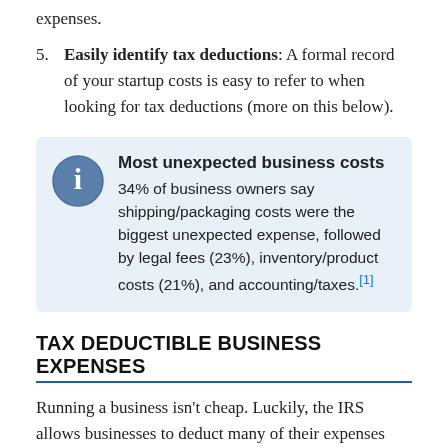expenses.
5. Easily identify tax deductions: A formal record of your startup costs is easy to refer to when looking for tax deductions (more on this below).
Most unexpected business costs
34% of business owners say shipping/packaging costs were the biggest unexpected expense, followed by legal fees (23%), inventory/product costs (21%), and accounting/taxes.[1]
TAX DEDUCTIBLE BUSINESS EXPENSES
Running a business isn't cheap. Luckily, the IRS allows businesses to deduct many of their expenses when tax season rolls around.
When you have a list of your business expenses, you've already